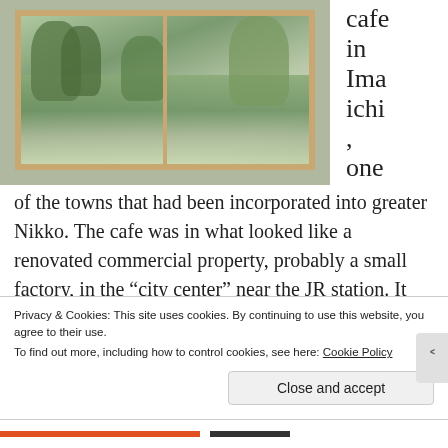[Figure (photo): View through a large sliding window with a wooden frame showing trees and a landscape outside, taken from inside a room with light-colored walls.]
cafe in Imaichi, one of the towns that had been incorporated into greater Nikko. The cafe was in what looked like a renovated commercial property, probably a small factory, in the “city center” near the JR station. It was a nice old Japanese neighborhood, cramped but
Privacy & Cookies: This site uses cookies. By continuing to use this website, you agree to their use.
To find out more, including how to control cookies, see here: Cookie Policy
Close and accept